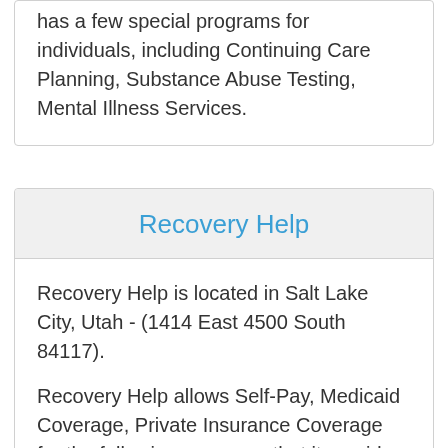has a few special programs for individuals, including Continuing Care Planning, Substance Abuse Testing, Mental Illness Services.
Recovery Help
Recovery Help is located in Salt Lake City, Utah - (1414 East 4500 South 84117).
Recovery Help allows Self-Pay, Medicaid Coverage, Private Insurance Coverage for the following programs that it provides, including Behavioral and Cognitive Therapy, Relapse Prevention Programs, 12 Step